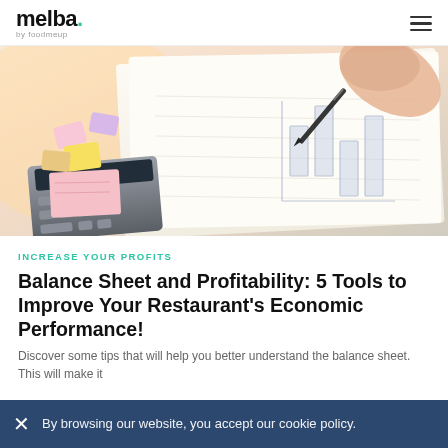melba. by foodmeup
[Figure (photo): Close-up of a hand writing in a notebook with a pen, with colorful paper clips and a calculator visible on a desk, warm light]
INCREASE YOUR PROFITS
Balance Sheet and Profitability: 5 Tools to Improve Your Restaurant's Economic Performance!
Discover some tips that will help you better understand the balance sheet. This will make it
By browsing our website, you accept our cookie policy.